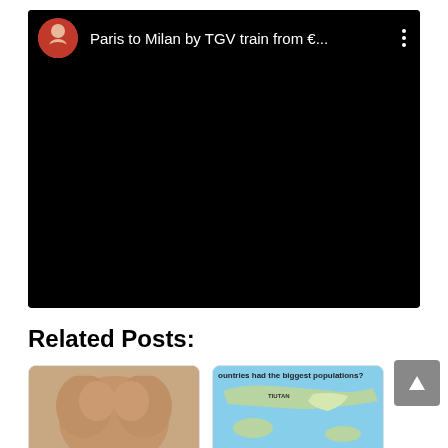[Figure (screenshot): Embedded YouTube-style video player with black background, circular avatar of a man in red shirt, title 'Paris to Milan by TGV train from €...' and three-dot menu icon]
Related Posts:
[Figure (photo): Thumbnail image showing muscular torso (skin-toned)]
[Figure (map): Thumbnail of a map with blue background showing countries with biggest populations, with labels including TIUTAN and YUNA visible]